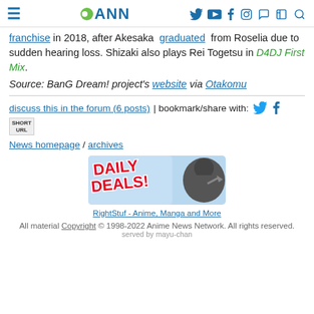ANN (Anime News Network)
franchise in 2018, after Akesaka  graduated  from Roselia due to sudden hearing loss. Shizaki also plays Rei Togetsu in D4DJ First Mix.
Source: BanG Dream! project's website via Otakomu
discuss this in the forum (6 posts) | bookmark/share with:
News homepage / archives
[Figure (illustration): RightStuf Daily Deals advertisement banner with a ninja character]
RightStuf - Anime, Manga and More
All material Copyright © 1998-2022 Anime News Network. All rights reserved. served by mayu-chan